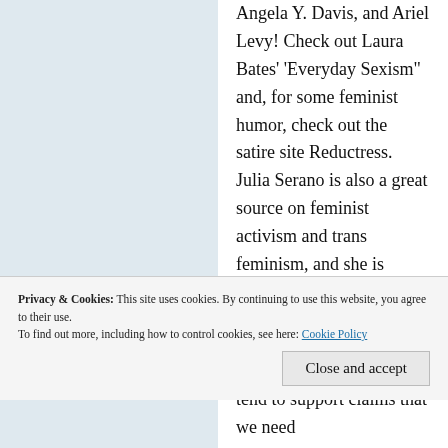Angela Y. Davis, and Ariel Levy! Check out Laura Bates' 'Everyday Sexism" and, for some feminist humor, check out the satire site Reductress. Julia Serano is also a great source on feminist activism and trans feminism, and she is actually quite critical of a number of feminist theories. Informed criticism is one thing. Saying that feminists are waging a war on culture is complete and utter nonsense. You don't even give clear examples of what you're
Privacy & Cookies: This site uses cookies. By continuing to use this website, you agree to their use.
To find out more, including how to control cookies, see here: Cookie Policy
tend to support claims that we need